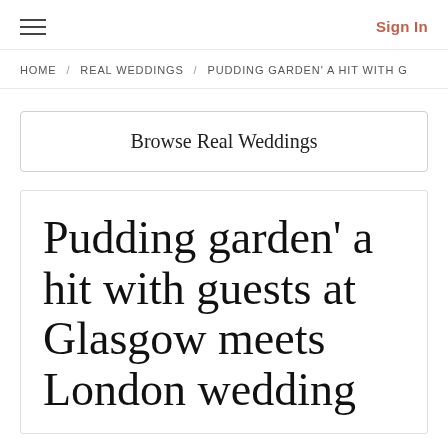≡  Sign In
HOME / REAL WEDDINGS / PUDDING GARDEN' A HIT WITH G
Browse Real Weddings
Pudding garden' a hit with guests at Glasgow meets London wedding